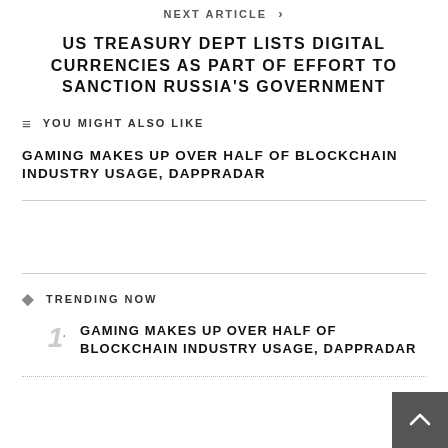NEXT ARTICLE >
US TREASURY DEPT LISTS DIGITAL CURRENCIES AS PART OF EFFORT TO SANCTION RUSSIA'S GOVERNMENT
YOU MIGHT ALSO LIKE
GAMING MAKES UP OVER HALF OF BLOCKCHAIN INDUSTRY USAGE, DAPPRADAR
TRENDING NOW
1. GAMING MAKES UP OVER HALF OF BLOCKCHAIN INDUSTRY USAGE, DAPPRADAR